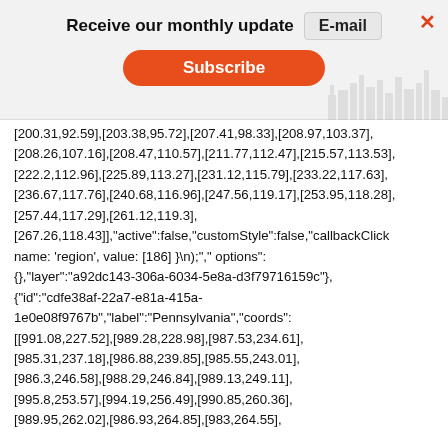Receive our monthly update   E-mail   ×   Subscribe
[200.31,92.59],[203.38,95.72],[207.41,98.33],[208.97,103.37],[208.26,107.16],[208.47,110.57],[211.77,112.47],[215.57,113.53],[222.2,112.96],[225.89,113.27],[231.12,115.79],[233.22,117.63],[236.67,117.76],[240.68,116.96],[247.56,119.17],[253.95,118.28],[257.44,117.29],[261.12,119.3],[267.26,118.43]],"active":false,"customStyle":false,"callbackClick":function(e){selectGroup({name: 'region', value: [186] }\n);","options":{},"layer":"a92dc143-306a-6034-5e8a-d3f79716159c"},{"id":"cdfe38af-22a7-e81a-415a-1e0e08f9767b","label":"Pennsylvania","coords":[[991.08,227.52],[989.28,228.98],[987.53,234.61],[985.31,237.18],[986.88,239.85],[985.55,243.01],[986.3,246.58],[988.29,246.84],[989.13,249.11],[995.8,253.57],[994.19,256.49],[990.85,260.36],[989.95,262.02],[986.93,264.85],[983,264.55],